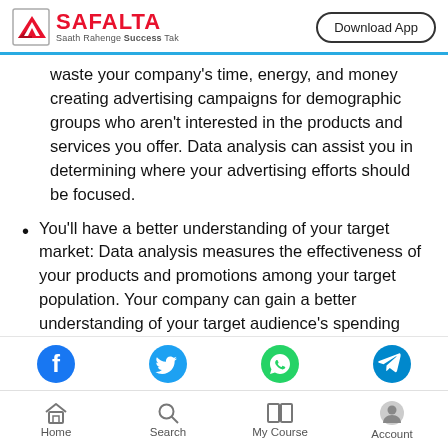SAFALTA — Saath Rahenge Success Tak | Download App
waste your company's time, energy, and money creating advertising campaigns for demographic groups who aren't interested in the products and services you offer. Data analysis can assist you in determining where your advertising efforts should be focused.
You'll have a better understanding of your target market: Data analysis measures the effectiveness of your products and promotions among your target population. Your company can gain a better understanding of your target audience's spending habits, disposable income, and most likely areas of interest through data analysis. This information
Home | Search | My Course | Account